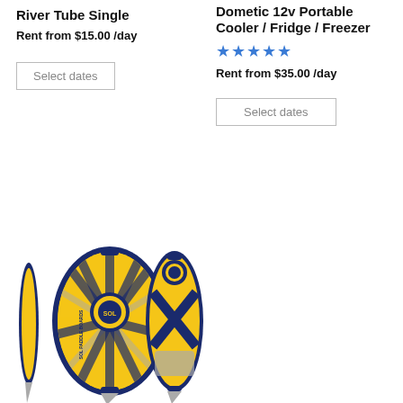River Tube Single
Rent from $15.00 /day
Select dates
Dometic 12v Portable Cooler / Fridge / Freezer
★★★★★
Rent from $35.00 /day
Select dates
[Figure (illustration): Three views of SOL Paddle Boards inflatable paddleboard shown in yellow and dark navy blue with gray accents: side view (thin), front/top view (full board with sunburst pattern and SOL logo), and back view (full board with X strap pattern and handle).]